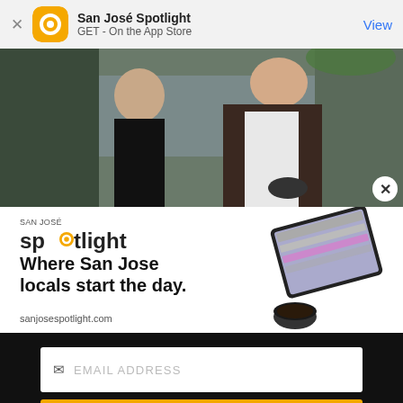San José Spotlight — GET - On the App Store — View
[Figure (photo): News photo showing two men outdoors, one in a dark brown cardigan and white shirt holding a microphone, another in black behind him, with a 'Restricted Access' sign visible in the background. A close button (×) is visible at the bottom right of the image.]
[Figure (screenshot): San Jose Spotlight advertisement. Shows the Spotlight logo (text: 'sp●tlight'), headline 'Where San Jose locals start the day.', URL 'sanjosespotlight.com', and an image of a tablet with coffee cup.]
EMAIL ADDRESS
SUBSCRIBE
Thanks, I'm not interested or already a subscriber